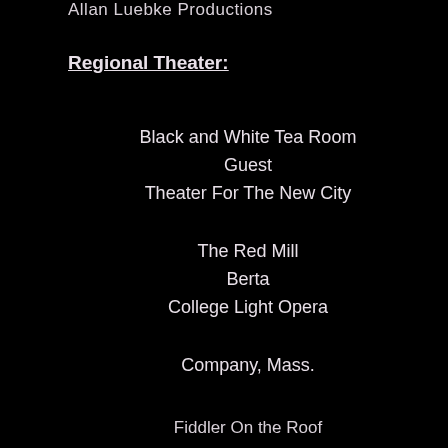Allan Luebke Productions
Regional Theater:
Black and White Tea Room
Guest
Theater For The New City
The Red Mill
Berta
College Light Opera
Company, Mass.
Fiddler On the Roof